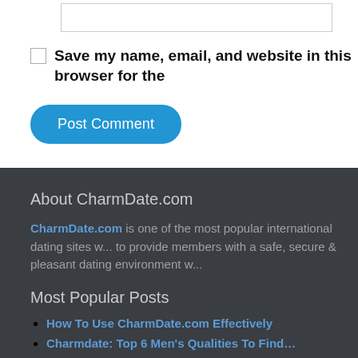[input field]
Save my name, email, and website in this browser for the
Post Comment
About CharmDate.com
CharmDate.com is one of the most popular international dating sites w... to provide members with a safe, secure & pleasant dating environment w...
Most Popular Posts
How To Use CharmDate.com Effectively
Charmdate: Top 6 Men's Qualities To Find...
Charmdate.com: No, Russian Women Over 50...
Charmdate: Traits of a Man Ukraine Ladies...
Open your heart to Darina, a hot singles...